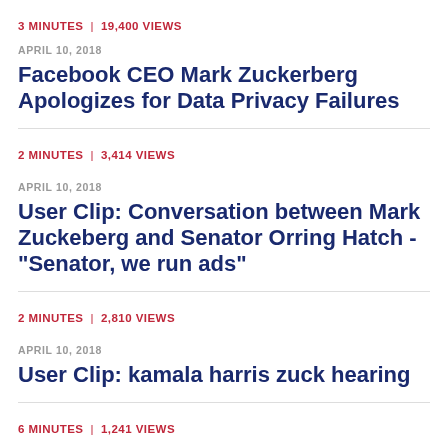3 MINUTES | 19,400 VIEWS
APRIL 10, 2018
Facebook CEO Mark Zuckerberg Apologizes for Data Privacy Failures
2 MINUTES | 3,414 VIEWS
APRIL 10, 2018
User Clip: Conversation between Mark Zuckeberg and Senator Orring Hatch - "Senator, we run ads"
2 MINUTES | 2,810 VIEWS
APRIL 10, 2018
User Clip: kamala harris zuck hearing
6 MINUTES | 1,241 VIEWS